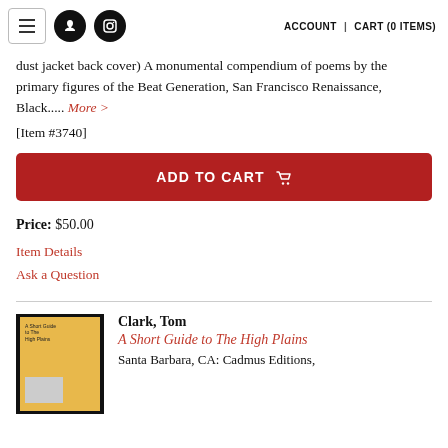ACCOUNT | CART (0 ITEMS)
dust jacket back cover) A monumental compendium of poems by the primary figures of the Beat Generation, San Francisco Renaissance, Black..... More >
[Item #3740]
ADD TO CART
Price: $50.00
Item Details
Ask a Question
Clark, Tom
A Short Guide to The High Plains
Santa Barbara, CA: Cadmus Editions,